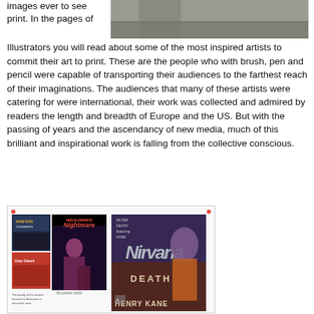[Figure (photo): Partial photograph visible at top right of the page, showing a grayscale outdoor scene]
images ever to see print. In the pages of
Illustrators you will read about some of the most inspired artists to commit their art to print. These are the people who with brush, pen and pencil were capable of transporting their audiences to the farthest reach of their imaginations. The audiences that many of these artists were catering for were international, their work was collected and admired by readers the length and breadth of Europe and the US. But with the passing of years and the ascendancy of new media, much of this brilliant and inspirational work is falling from the collective conscious.
[Figure (illustration): Bottom framed panel showing comic book covers including 'Midsummer Nightmare' and a pulp fiction cover featuring 'Nirvana Death' by Henry Kane, with small comic strip thumbnails on the left side]